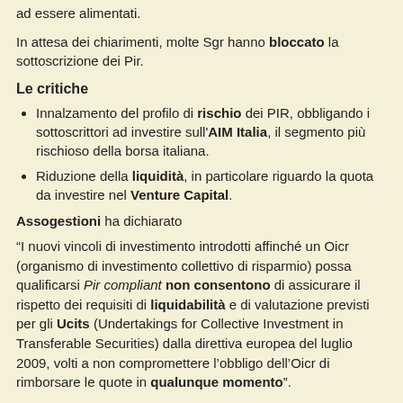ad essere alimentati.
In attesa dei chiarimenti, molte Sgr hanno bloccato la sottoscrizione dei Pir.
Le critiche
Innalzamento del profilo di rischio dei PIR, obbligando i sottoscrittori ad investire sull'AIM Italia, il segmento più rischioso della borsa italiana.
Riduzione della liquidità, in particolare riguardo la quota da investire nel Venture Capital.
Assogestioni ha dichiarato
“I nuovi vincoli di investimento introdotti affinché un Oicr (organismo di investimento collettivo di risparmio) possa qualificarsi Pir compliant non consentono di assicurare il rispetto dei requisiti di liquidabilità e di valutazione previsti per gli Ucits (Undertakings for Collective Investment in Transferable Securities) dalla direttiva europea del luglio 2009, volti a non compromettere l’obbligo dell’Oicr di rimborsare le quote in qualunque momento”.